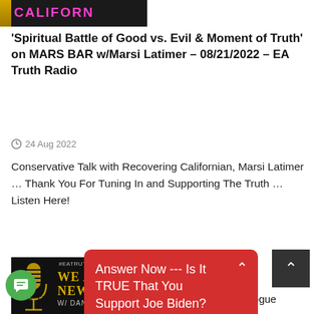[Figure (photo): Partial image showing 'CALIFORN' text in pink/magenta on dark background, with a yellow vertical bar on left side]
'Spiritual Battle of Good vs. Evil & Moment of Truth' on MARS BAR w/Marsi Latimer – 08/21/2022 – EA Truth Radio
24 Aug 2022
Conservative Talk with Recovering Californian, Marsi Latimer … Thank You For Tuning In and Supporting The Truth … Listen Here!
[Figure (photo): Podcast cover art with microphone graphic, '#EATRUTHR' tag, 'WE ARE T NEWS NO' text in gold, 'W/ DAN HE' text, dark background]
Answer Now --- Is It TRUE That You Support Joe Biden?
ARE THE on EA Truth Radio: Dick rogue Magazine